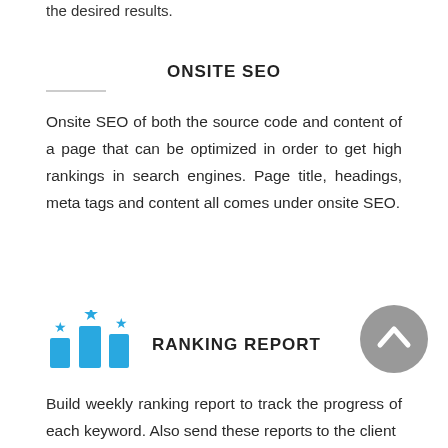the desired results.
ONSITE SEO
Onsite SEO of both the source code and content of a page that can be optimized in order to get high rankings in search engines. Page title, headings, meta tags and content all comes under onsite SEO.
[Figure (illustration): Blue bar chart icon with three bars of different heights, each topped with a star, representing a ranking report]
RANKING REPORT
[Figure (illustration): Gray circular scroll-to-top button with an upward chevron arrow]
Build weekly ranking report to track the progress of each keyword. Also send these reports to the client